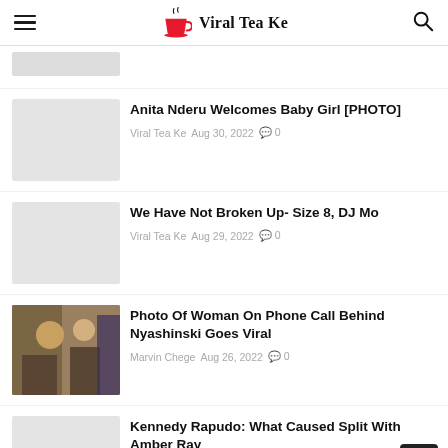Viral Tea Ke
Anita Nderu Welcomes Baby Girl [PHOTO] | Viral Tea Ke | Aug 30, 2022 | 0 comments
We Have Not Broken Up- Size 8, DJ Mo | Viral Tea Ke | Aug 29, 2022 | 0 comments
Photo Of Woman On Phone Call Behind Nyashinski Goes Viral | Marvin Chege | Aug 26, 2022 | 0 comments
Kennedy Rapudo: What Caused Split With Amber Ray | Viral Tea Ke | Aug 25, 2022 | 0 comments